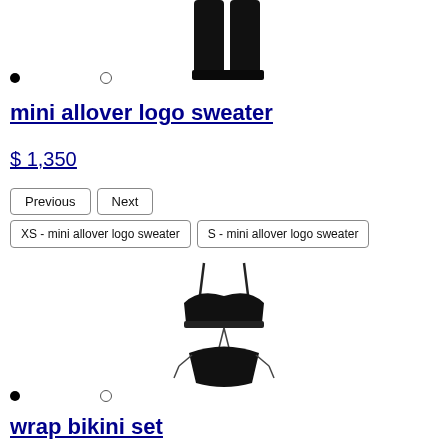[Figure (photo): Partial view of a black garment (bottom portion cut off at top of page)]
mini allover logo sweater
$ 1,350
Previous | Next
XS - mini allover logo sweater | S - mini allover logo sweater
[Figure (photo): Black bikini set (wrap bikini top and tie-side bottoms) on white background]
wrap bikini set